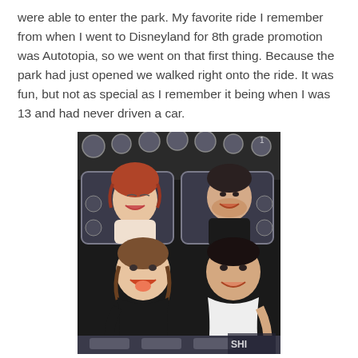were able to enter the park. My favorite ride I remember from when I went to Disneyland for 8th grade promotion was Autotopia, so we went on that first thing. Because the park had just opened we walked right onto the ride. It was fun, but not as special as I remember it being when I was 13 and had never driven a car.
[Figure (photo): A group of people riding a theme park ride, laughing and having fun. A woman in the front with her tongue out, a woman behind her laughing, and a man in the back right also laughing. Dark ride car interior visible.]